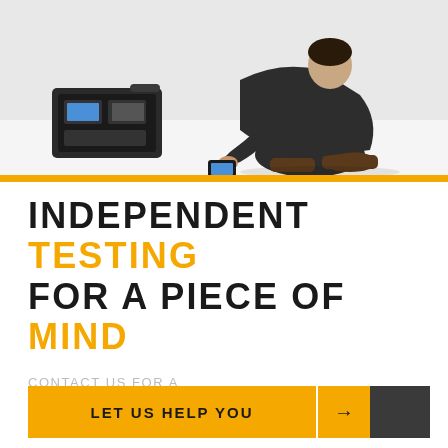[Figure (photo): A person in dark clothing crouching on a white floor, using a handheld testing device. An open equipment case with testing instruments is visible on the floor nearby.]
INDEPENDENT TESTING FOR A PIECE OF MIND
CONTACT US FOR A FREE NON OBLIGATORY ADVICE
LET US HELP YOU →